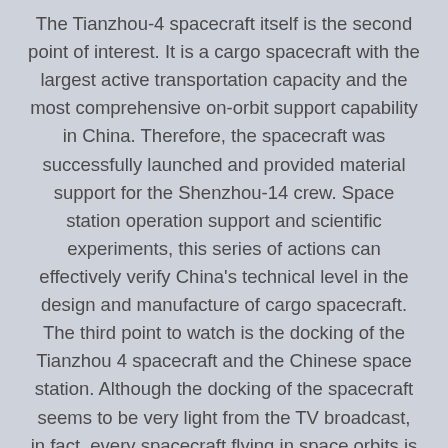The Tianzhou-4 spacecraft itself is the second point of interest. It is a cargo spacecraft with the largest active transportation capacity and the most comprehensive on-orbit support capability in China. Therefore, the spacecraft was successfully launched and provided material support for the Shenzhou-14 crew. Space station operation support and scientific experiments, this series of actions can effectively verify China's technical level in the design and manufacture of cargo spacecraft. The third point to watch is the docking of the Tianzhou 4 spacecraft and the Chinese space station. Although the docking of the spacecraft seems to be very light from the TV broadcast, in fact, every spacecraft flying in space orbits is in the